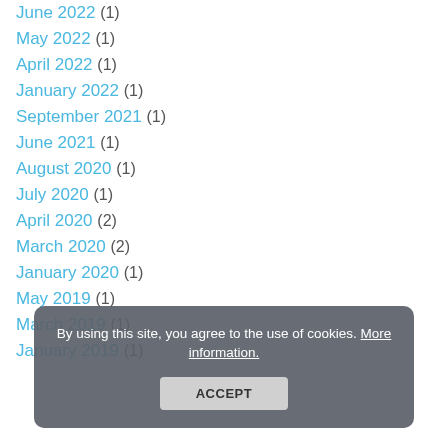June 2022 (1)
May 2022 (1)
April 2022 (1)
January 2022 (1)
September 2021 (1)
June 2021 (1)
August 2020 (1)
July 2020 (1)
April 2020 (2)
March 2020 (2)
January 2020 (1)
May 2019 (1)
March 2019 (1)
January 2019 (1)
By using this site, you agree to the use of cookies. More information. ACCEPT